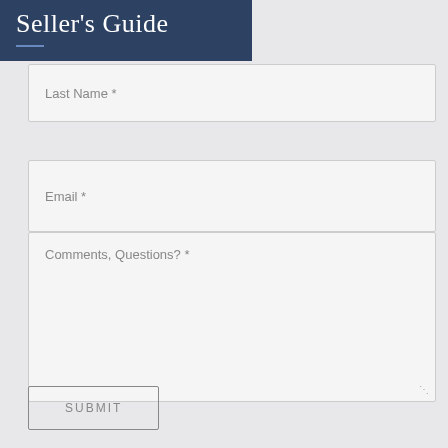Seller's Guide
Last Name *
Email *
Comments, Questions? *
SUBMIT